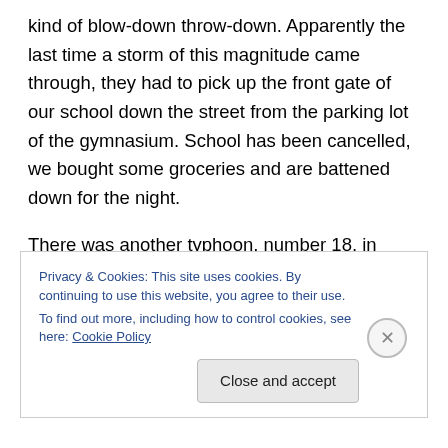kind of blow-down throw-down. Apparently the last time a storm of this magnitude came through, they had to pick up the front gate of our school down the street from the parking lot of the gymnasium. School has been cancelled, we bought some groceries and are battened down for the night.
There was another typhoon, number 18, in September. In its wake, the particulates of industry were washed out of the air, nature's version of high-definition clarity. The windows were covered
Privacy & Cookies: This site uses cookies. By continuing to use this website, you agree to their use.
To find out more, including how to control cookies, see here: Cookie Policy